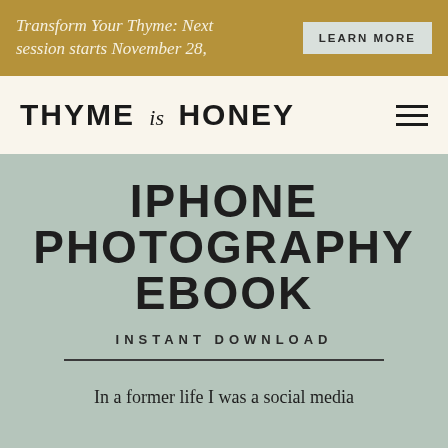Transform Your Thyme: Next session starts November 28,
LEARN MORE
THYME is HONEY
IPHONE PHOTOGRAPHY EBOOK
INSTANT DOWNLOAD
In a former life I was a social media